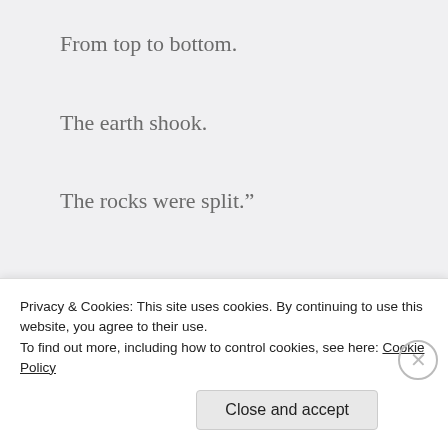From top to bottom.
The earth shook.
The rocks were split.”
Καὶ ἰδοὺ τὸ καταπέτασμα τοῦ ναοῦ ἐσχίσθη ἀπ’ ἄνωθεν ἕως κάτω εἰς δύο. καὶ ἡ γῆ ἐσείσθη. καὶ
Privacy & Cookies: This site uses cookies. By continuing to use this website, you agree to their use.
To find out more, including how to control cookies, see here: Cookie Policy